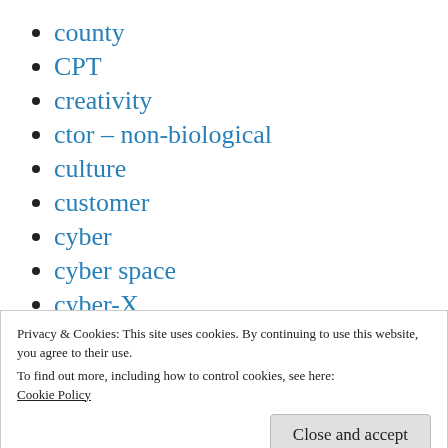county
CPT
creativity
ctor – non-biological
culture
customer
cyber
cyber space
cyber-X
cybernetics
DAAL
Privacy & Cookies: This site uses cookies. By continuing to use this website, you agree to their use.
To find out more, including how to control cookies, see here:
Cookie Policy
debriefing